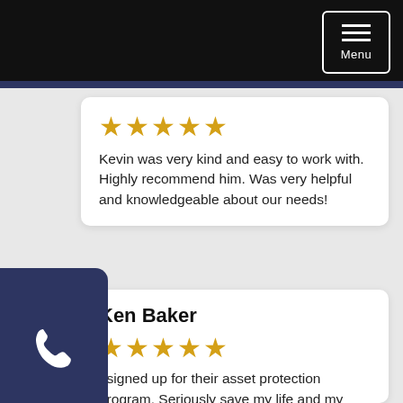Menu
Kevin was very kind and easy to work with. Highly recommend him. Was very helpful and knowledgeable about our needs!
Ken Baker
I signed up for their asset protection program. Seriously save my life and my livelihood. These guys really know the